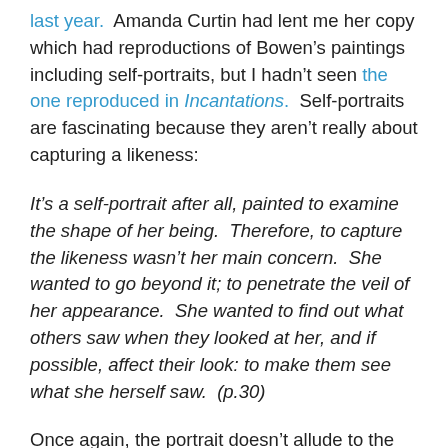last year.  Amanda Curtin had lent me her copy which had reproductions of Bowen's paintings including self-portraits, but I hadn't seen the one reproduced in Incantations.  Self-portraits are fascinating because they aren't really about capturing a likeness:
It's a self-portrait after all, painted to examine the shape of her being.  Therefore, to capture the likeness wasn't her main concern.  She wanted to go beyond it; to penetrate the veil of her appearance.  She wanted to find out what others saw when they looked at her, and if possible, affect their look: to make them see what she herself saw.  (p.30)
Once again, the portrait doesn't allude to the sitter's profession.  But nor does it interfere with what we know.  Which is why I was so surprised by Jeffrey Smart's portrait of David Malouf (1980).  It's bizarre: Malouf is in overalls,